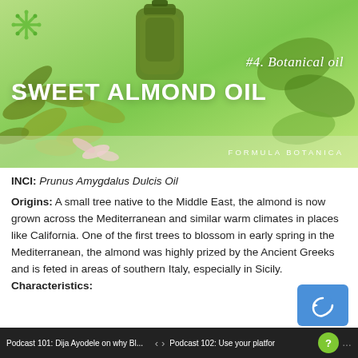[Figure (photo): Hero banner image showing sweet almond oil bottle with almonds and pink flowers on a green gradient background. Overlay text reads '#4. Botanical oil SWEET ALMOND OIL FORMULA BOTANICA' with a snowflake logo top left.]
INCI: Prunus Amygdalus Dulcis Oil
Origins: A small tree native to the Middle East, the almond is now grown across the Mediterranean and similar warm climates in places like California. One of the first trees to blossom in early spring in the Mediterranean, the almond was highly prized by the Ancient Greeks and is feted in areas of southern Italy, especially in Sicily.
Characteristics:
Podcast 101: Dija Ayodele on why Bl...  <  >  Podcast 102: Use your platfor  ?  ...